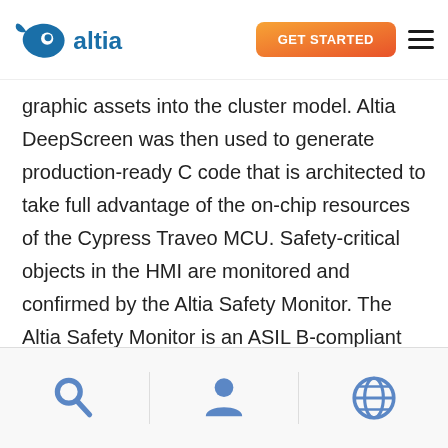Altia | GET STARTED
graphic assets into the cluster model. Altia DeepScreen was then used to generate production-ready C code that is architected to take full advantage of the on-chip resources of the Cypress Traveo MCU. Safety-critical objects in the HMI are monitored and confirmed by the Altia Safety Monitor. The Altia Safety Monitor is an ASIL B-compliant embedded software solution which addresses ISO 26262 requirements in the HMI by monitoring safety-
Search | User | Global